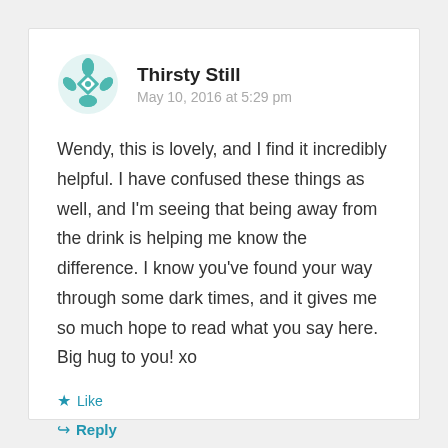Thirsty Still
May 10, 2016 at 5:29 pm
Wendy, this is lovely, and I find it incredibly helpful. I have confused these things as well, and I'm seeing that being away from the drink is helping me know the difference. I know you've found your way through some dark times, and it gives me so much hope to read what you say here. Big hug to you! xo
Like
Reply